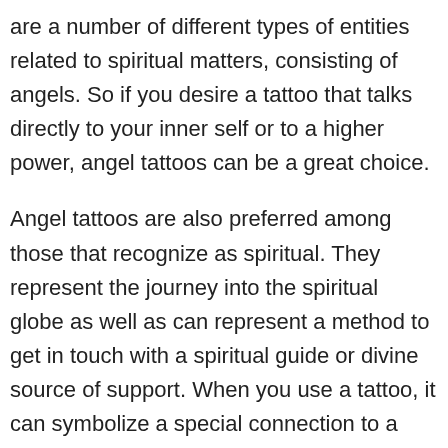are a number of different types of entities related to spiritual matters, consisting of angels. So if you desire a tattoo that talks directly to your inner self or to a higher power, angel tattoos can be a great choice.
Angel tattoos are also preferred among those that recognize as spiritual. They represent the journey into the spiritual globe as well as can represent a method to get in touch with a spiritual guide or divine source of support. When you use a tattoo, it can symbolize a special connection to a higher power or to a higher fact. Wearing the cross, for example, can represent both a continuing trip right into the spiritual world and also a desire to follow that course.
Angel tattoos are striking as a result of their vibrant nature. They can represent almost any other significance possible.